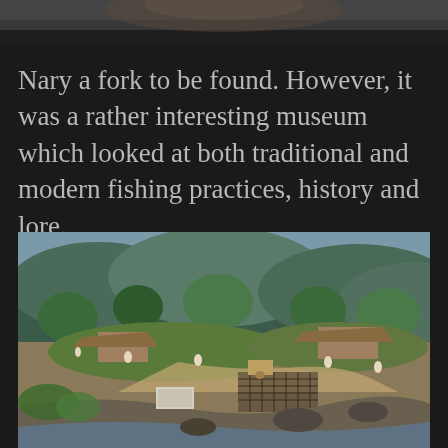[Figure (photo): Partial top image showing bottom edge of a photograph on dark background]
Nary a fork to be found.  However, it was a rather interesting museum which looked at both traditional and modern fishing practices, history and lore.
[Figure (photo): Diorama or scale model of a traditional fishing village with thatched-roof huts, small figurines of people, greenery, rocky coastline, and mountains in the background]